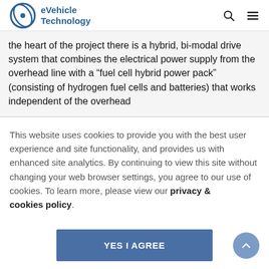eVehicle Technology
the heart of the project there is a hybrid, bi-modal drive system that combines the electrical power supply from the overhead line with a “fuel cell hybrid power pack” (consisting of hydrogen fuel cells and batteries) that works independent of the overhead
This website uses cookies to provide you with the best user experience and site functionality, and provides us with enhanced site analytics. By continuing to view this site without changing your web browser settings, you agree to our use of cookies. To learn more, please view our privacy & cookies policy.
YES I AGREE